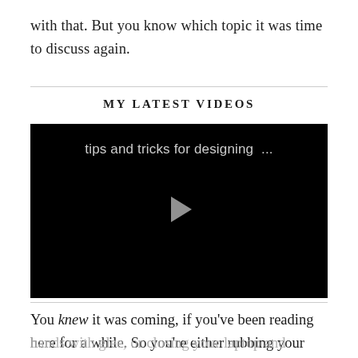with that. But you know which topic it was time to discuss again.
MY LATEST VIDEOS
[Figure (screenshot): Video player with black background showing title 'tips and tricks for designing ...' and a triangular play button in the center]
You knew it was coming, if you've been reading here for a while. So you're either rubbing your hands with glee, or closing your laptop and walking away. For the record, it's totally okay,